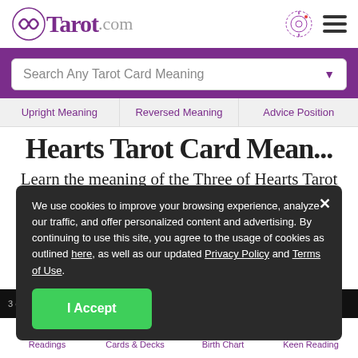Tarot.com
Search Any Tarot Card Meaning
Upright Meaning | Reversed Meaning | Advice Position
Hearts Tarot Card Mean...
Learn the meaning of the Three of Hearts Tarot card in under a minute!
We use cookies to improve your browsing experience, analyze our traffic, and offer personalized content and advertising. By continuing to use this site, you agree to the usage of cookies as outlined here, as well as our updated Privacy Policy and Terms of Use.
I Accept
Readings | Cards & Decks | Birth Chart | Keen Reading